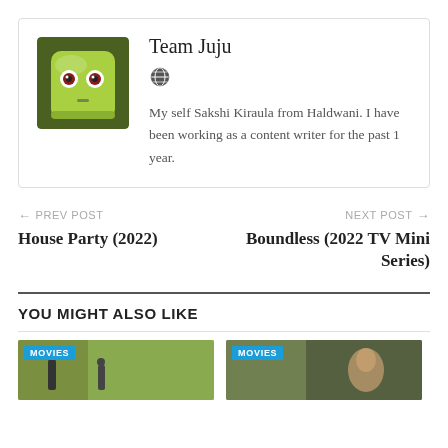[Figure (illustration): Author box with avatar (green cartoon face on dark green background), name 'Team Juju', globe icon, and bio text.]
Team Juju
My self Sakshi Kiraula from Haldwani. I have been working as a content writer for the past 1 year.
← PREV POST
House Party (2022)
NEXT POST →
Boundless (2022 TV Mini Series)
YOU MIGHT ALSO LIKE
[Figure (photo): Movie thumbnail with MOVIES label, outdoor scene with people]
[Figure (photo): Movie thumbnail with MOVIES label, outdoor scene]